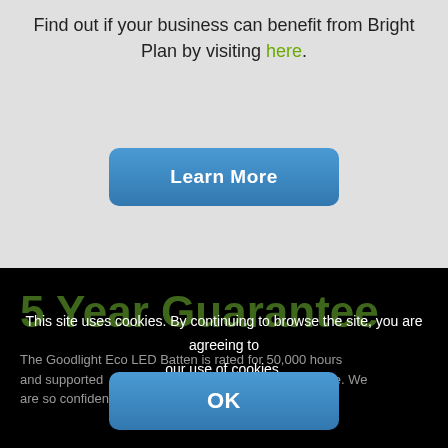Find out if your business can benefit from Bright Plan by visiting here.
[Figure (screenshot): Blue 'Learn More' button with rounded corners]
5 Year Guarantee
The Goodlight Eco LED Batten is rated for 50,000 hours and supported ... failure. We are so confident in the quality and performance of our
This site uses cookies. By continuing to browse the site, you are agreeing to our use of cookies.
[Figure (screenshot): Blue 'OK' button with rounded corners for cookie consent]